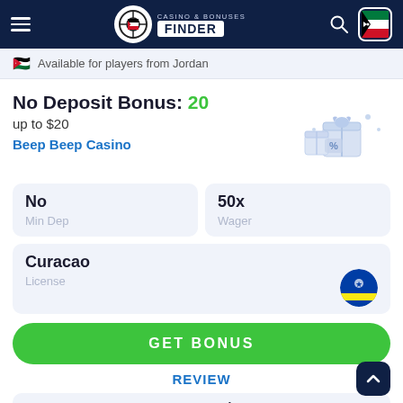Casino & Bonuses Finder
Available for players from Jordan
No Deposit Bonus: 20 up to $20
Beep Beep Casino
[Figure (illustration): Gift boxes illustration with percent sign]
No - Min Dep
50x - Wager
Curacao - License
GET BONUS
REVIEW
Bonus Code - Not Required
User feedback